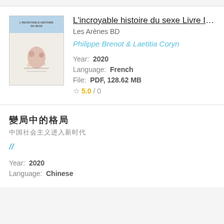[Figure (illustration): Book cover thumbnail for L'incroyable histoire du sexe Livre I]
L'incroyable histoire du sexe Livre I- L
Les Arènes BD
Philippe Brenot & Laetitia Coryn
Year:  2020
Language:  French
File:  PDF, 128.62 MB
5.0 / 0
Chinese book title (CJK characters)
CJK subtitle characters
// (author in CJK)
Year:  2020
Language:  Chinese